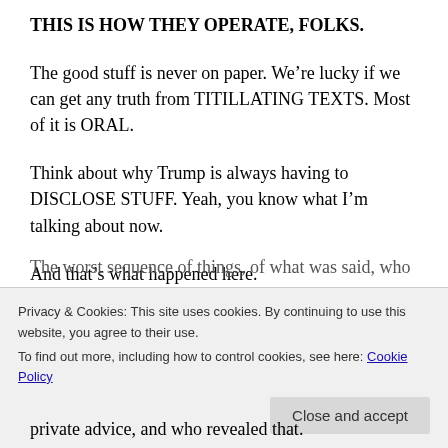THIS IS HOW THEY OPERATE, FOLKS.
The good stuff is never on paper. We’re lucky if we can get any truth from TITILLATING TEXTS. Most of it is ORAL.
Think about why Trump is always having to DISCLOSE STUFF. Yeah, you know what I’m talking about now.
And that’s what happened here.
The worst sequence of things, of what was said, who...
Privacy & Cookies: This site uses cookies. By continuing to use this website, you agree to their use.
To find out more, including how to control cookies, see here: Cookie Policy
private advice, and who revealed that.